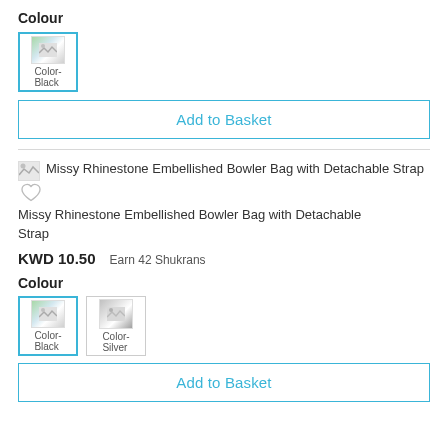Colour
[Figure (other): Color swatch thumbnail labeled Color-Black, selected with blue border]
Add to Basket
[Figure (other): Product image thumbnail for Missy Rhinestone Embellished Bowler Bag with Detachable Strap]
Missy Rhinestone Embellished Bowler Bag with Detachable Strap
KWD 10.50   Earn 42 Shukrans
Colour
[Figure (other): Color swatch thumbnails: Color-Black (selected, blue border) and Color-Silver]
Add to Basket